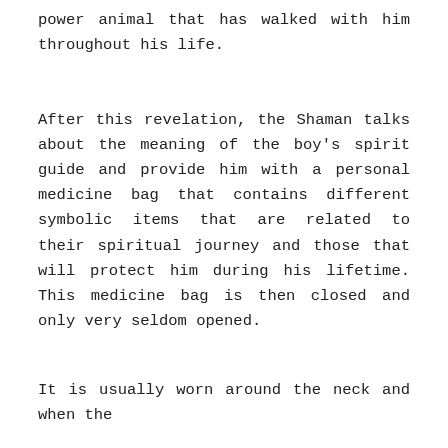power animal that has walked with him throughout his life.
After this revelation, the Shaman talks about the meaning of the boy's spirit guide and provide him with a personal medicine bag that contains different symbolic items that are related to their spiritual journey and those that will protect him during his lifetime. This medicine bag is then closed and only very seldom opened.
It is usually worn around the neck and when the